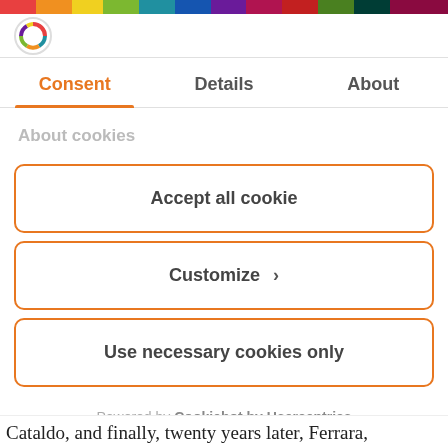[Figure (logo): Colorful segmented logo in a circle]
Consent
Details
About
About cookies
Accept all cookie
Customize ›
Use necessary cookies only
Powered by Cookiebot by Usercentrics
Cataldo, and finally, twenty years later, Ferrara,